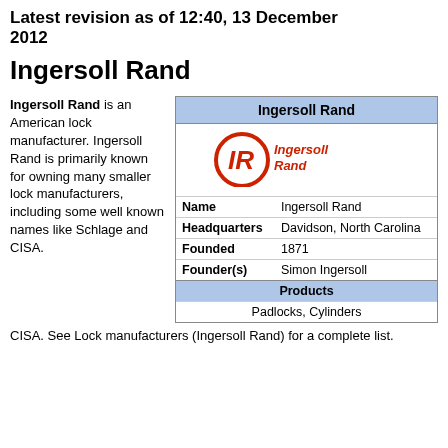Latest revision as of 12:40, 13 December 2012
Ingersoll Rand
Ingersoll Rand is an American lock manufacturer. Ingersoll Rand is primarily known for owning many smaller lock manufacturers, including some well known names like Schlage and CISA. See Lock manufacturers (Ingersoll Rand) for a complete list.
| Field | Value |
| --- | --- |
| Name | Ingersoll Rand |
| Headquarters | Davidson, North Carolina |
| Founded | 1871 |
| Founder(s) | Simon Ingersoll |
| Products | Padlocks, Cylinders |